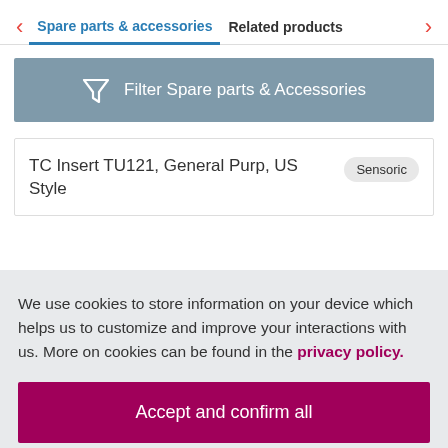< Spare parts & accessories   Related products >
Filter Spare parts & Accessories
TC Insert TU121, General Purp, US Style   Sensoric
We use cookies to store information on your device which helps us to customize and improve your interactions with us. More on cookies can be found in the privacy policy.
Accept and confirm all
Adapt settings